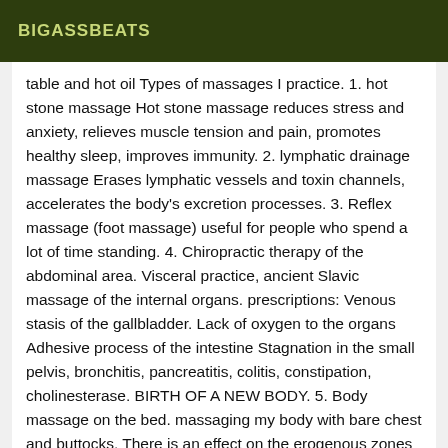BIGASSBEATS
table and hot oil Types of massages I practice. 1. hot stone massage Hot stone massage reduces stress and anxiety, relieves muscle tension and pain, promotes healthy sleep, improves immunity. 2. lymphatic drainage massage Erases lymphatic vessels and toxin channels, accelerates the body's excretion processes. 3. Reflex massage (foot massage) useful for people who spend a lot of time standing. 4. Chiropractic therapy of the abdominal area. Visceral practice, ancient Slavic massage of the internal organs. prescriptions: Venous stasis of the gallbladder. Lack of oxygen to the organs Adhesive process of the intestine Stagnation in the small pelvis, bronchitis, pancreatitis, colitis, constipation, cholinesterase. BIRTH OF A NEW BODY. 5. Body massage on the bed. massaging my body with bare chest and buttocks. There is an effect on the erogenous zones of the body. My naked body glides over you and the male body is filled with feminine energy.